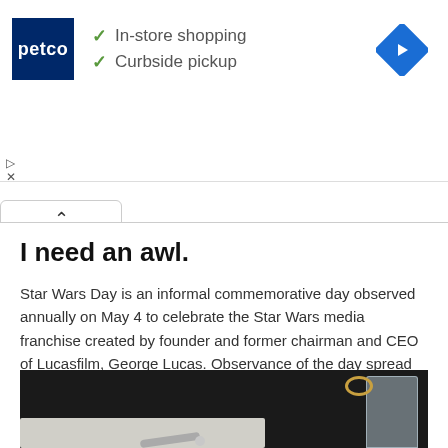[Figure (screenshot): Petco advertisement banner showing logo, checkmarks for 'In-store shopping' and 'Curbside pickup', and a blue navigation arrow icon on the right]
I need an awl.
Star Wars Day is an informal commemorative day observed annually on May 4 to celebrate the Star Wars media franchise created by founder and former chairman and CEO of Lucasfilm, George Lucas. Observance of the day spread quickly through media and grassroots celebrations since the franchise began in 1977.
[Figure (photo): Dark photograph showing what appears to be a table or desk surface with an awl tool, a glass, and some other objects]